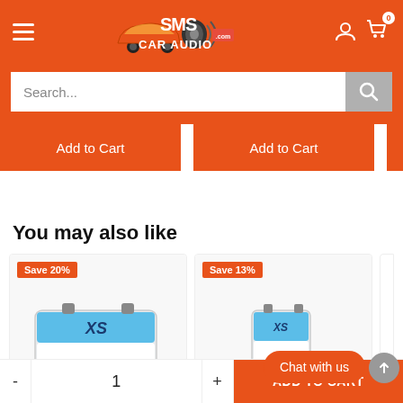[Figure (screenshot): SMS Car Audio website header with orange background, hamburger menu, logo, user icon, and cart icon with badge showing 0]
Search...
Add to Cart
Add to Cart
You may also like
[Figure (photo): Product card with Save 20% badge and XS Power battery image]
[Figure (photo): Product card with Save 13% badge and battery image]
Chat with us
- 1 + ADD TO CART